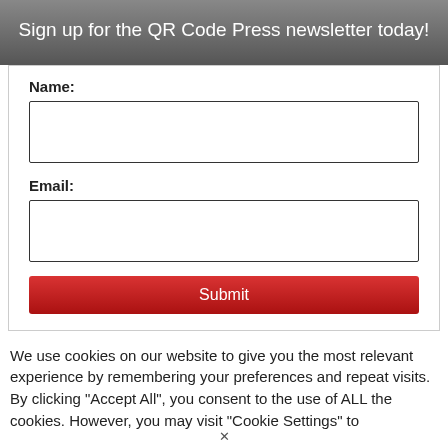Sign up for the QR Code Press newsletter today!
Name:
Email:
Submit
We use cookies on our website to give you the most relevant experience by remembering your preferences and repeat visits. By clicking “Accept All”, you consent to the use of ALL the cookies. However, you may visit "Cookie Settings" to